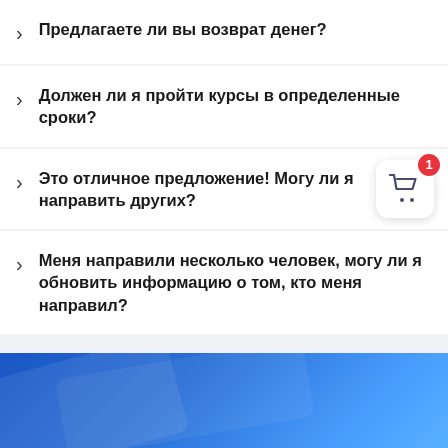Предлагаете ли вы возврат денег?
Должен ли я пройти курсы в определенные сроки?
Это отличное предложение! Могу ли я направить других?
Меня направили несколько человек, могу ли я обновить информацию о том, кто меня направил?